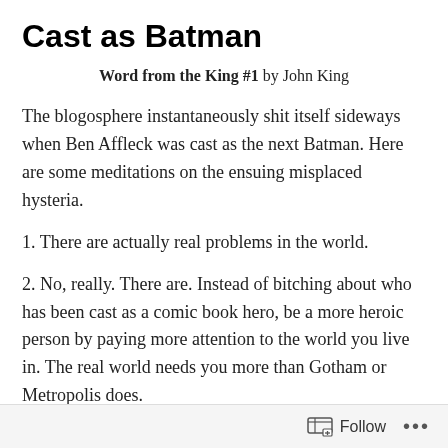Cast as Batman
Word from the King #1 by John King
The blogosphere instantaneously shit itself sideways when Ben Affleck was cast as the next Batman. Here are some meditations on the ensuing misplaced hysteria.
1. There are actually real problems in the world.
2. No, really. There are. Instead of bitching about who has been cast as a comic book hero, be a more heroic person by paying more attention to the world you live in. The real world needs you more than Gotham or Metropolis does.
3. While Christian Bale was credibly intense, frankly, Christopher Nolan's Batman trilogy is over nine hours of
Follow ...